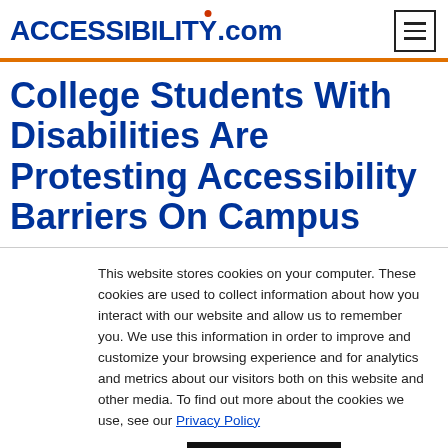ACCESSIBILITY.com
College Students With Disabilities Are Protesting Accessibility Barriers On Campus
This website stores cookies on your computer. These cookies are used to collect information about how you interact with our website and allow us to remember you. We use this information in order to improve and customize your browsing experience and for analytics and metrics about our visitors both on this website and other media. To find out more about the cookies we use, see our Privacy Policy
Accept